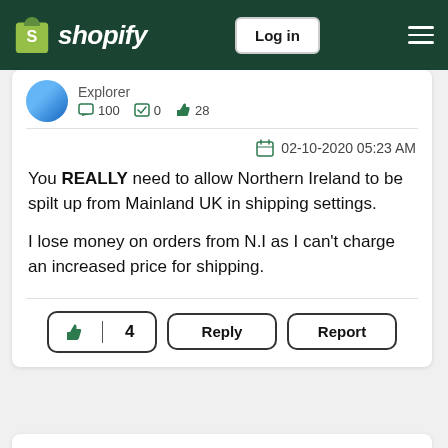Shopify — Log in
Explorer
💬 100  ✓ 0  👍 28
02-10-2020 05:23 AM
You REALLY need to allow Northern Ireland to be spilt up from Mainland UK in shipping settings.

I lose money on orders from N.I as I can't charge an increased price for shipping.
👍 4  Reply  Report